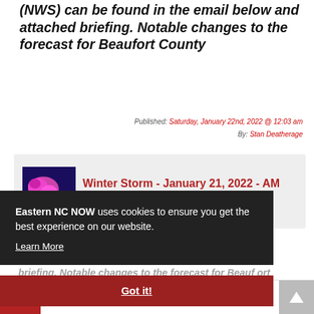(NWS) can be found in the email below and attached briefing. Notable changes to the forecast for Beaufort County
Published: Saturday, January 22nd, 2022 @ 12:03 am
By: Stan Deatherage
[Figure (screenshot): Article card with thumbnail map image of winter storm and title 'Winter Storm - January 21, 2022 - AM Update' in red text on gray background]
The latest update from the National Weather Service (NWS) can be found in the email below and attached briefing.
Eastern NC NOW uses cookies to ensure you get the best experience on our website. Learn More
Got it!
Thursday - Saturday